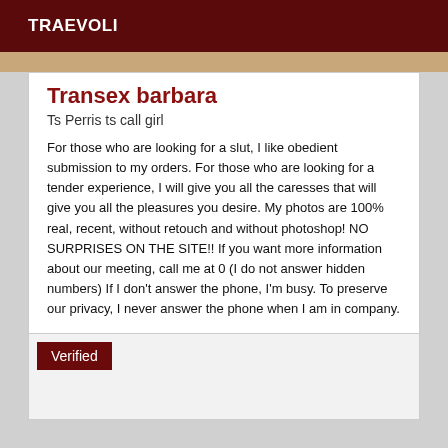TRAEVOLI
Transex barbara
Ts Perris ts call girl
For those who are looking for a slut, I like obedient submission to my orders. For those who are looking for a tender experience, I will give you all the caresses that will give you all the pleasures you desire. My photos are 100% real, recent, without retouch and without photoshop! NO SURPRISES ON THE SITE!! If you want more information about our meeting, call me at 0 (I do not answer hidden numbers) If I don't answer the phone, I'm busy. To preserve our privacy, I never answer the phone when I am in company.
Verified